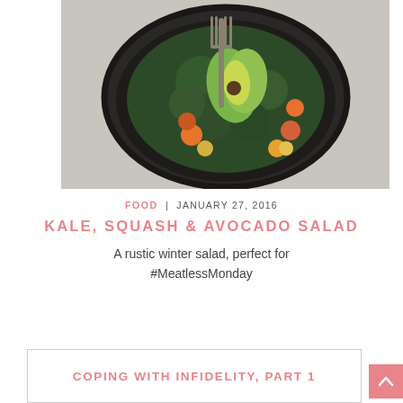[Figure (photo): Overhead view of a kale salad with squash, avocado, and cherry tomatoes in a dark bowl with a fork, on a grey background]
FOOD | JANUARY 27, 2016
KALE, SQUASH & AVOCADO SALAD
A rustic winter salad, perfect for #MeatlessMonday
COPING WITH INFIDELITY, PART 1